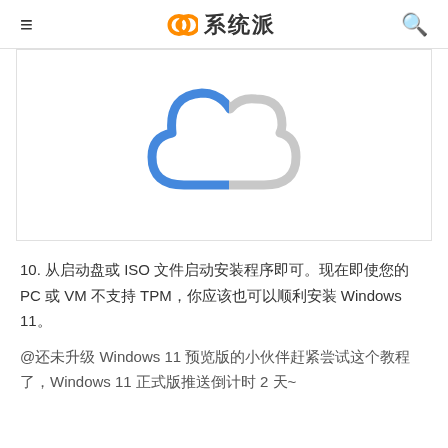≡  ∞ 系统派  🔍
[Figure (illustration): Cloud icon: blue and gray cloud outline illustration, partially colored blue on the left and gray on the right, on a white background]
10. 从启动盘或 ISO 文件启动安装程序即可。现在即使您的 PC 或 VM 不支持 TPM，你应该也可以顺利安装 Windows 11。
@还未升级 Windows 11 预览版的小伙伴赶紧尝试这个教程了，Windows 11 正式版推送倒计时 2 天~